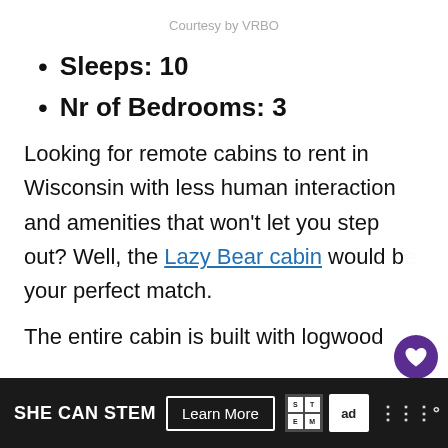Courtesy by VRBO
Sleeps: 10
Nr of Bedrooms: 3
Looking for remote cabins to rent in Wisconsin with less human interaction and amenities that won't let you step out? Well, the Lazy Bear cabin would be your perfect match.
The entire cabin is built with logwood
SHE CAN STEM  Learn More